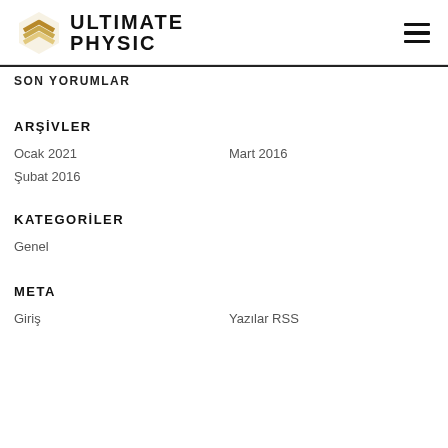[Figure (logo): Ultimate Physic logo with gold chevron/shield icon and bold black text ULTIMATE PHYSIC]
SON YORUMLAR
ARŞİVLER
Ocak 2021
Mart 2016
Şubat 2016
KATEGORİLER
Genel
META
Giriş
Yazılar RSS